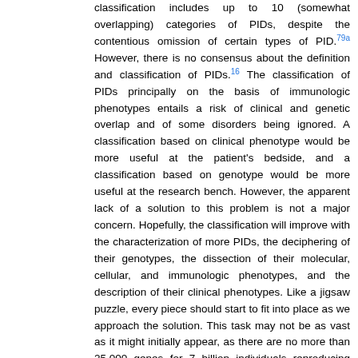classification includes up to 10 (somewhat overlapping) categories of PIDs, despite the contentious omission of certain types of PID.79a However, there is no consensus about the definition and classification of PIDs.16 The classification of PIDs principally on the basis of immunologic phenotypes entails a risk of clinical and genetic overlap and of some disorders being ignored. A classification based on clinical phenotype would be more useful at the patient's bedside, and a classification based on genotype would be more useful at the research bench. However, the apparent lack of a solution to this problem is not a major concern. Hopefully, the classification will improve with the characterization of more PIDs, the deciphering of their genotypes, the dissection of their molecular, cellular, and immunologic phenotypes, and the description of their clinical phenotypes. Like a jigsaw puzzle, every piece should start to fit into place as we approach the solution. This task may not be as vast as it might initially appear, as there are no more than 25,000 genes for 7 billion individuals reproducing every two or three decades. However, we may never reach the asymptote, as there is no such thing as a distinct disease entity, precisely because of the tremendous germline and somatic genetic variability that makes each disease in each patient unique: there are only patients. There is therefore unlikely to be any satisfactory definition and classification of inborn errors of immunity in the near future. This does not matter so long as rapid progress is made in this field, in terms of awareness,